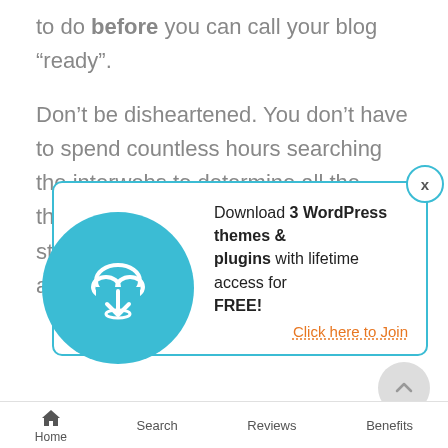to do before you can call your blog “ready”.
Don’t be disheartened. You don’t have to spend countless hours searching the interwebs to determine all the things you need to do. Just follow the steps we’ve outlined in the post below, and you’ll be ready in no time.
[Figure (other): Popup banner with download cloud icon. Text: Download 3 WordPress themes & plugins with lifetime access for FREE! Click here to Join]
Home   Search   Reviews   Benefits